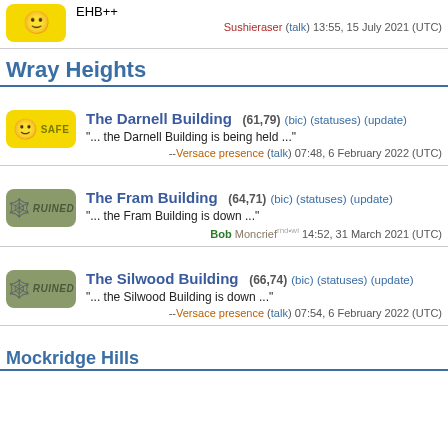EHB++
Sushieraser (talk) 13:55, 15 July 2021 (UTC)
Wray Heights
The Darnell Building (61,79) (bic) (statuses) (update)
"... the Darnell Building is being held ..."
--Versace presence (talk) 07:48, 6 February 2022 (UTC)
The Fram Building (64,71) (bic) (statuses) (update)
"... the Fram Building is down ..."
Bob Moncrief 14:52, 31 March 2021 (UTC)
The Silwood Building (66,74) (bic) (statuses) (update)
"... the Silwood Building is down ..."
--Versace presence (talk) 07:54, 6 February 2022 (UTC)
Mockridge Hills